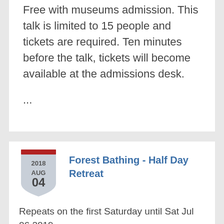Free with museums admission. This talk is limited to 15 people and tickets are required. Ten minutes before the talk, tickets will become available at the admissions desk.
...
Forest Bathing - Half Day Retreat
Repeats on the first Saturday until Sat Jul 06 2019 .
8:00am to 11:00am